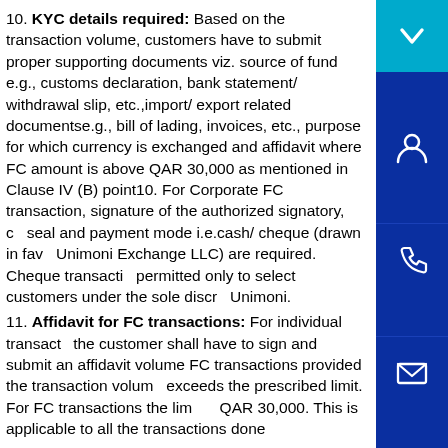10. KYC details required: Based on the transaction volume, customers have to submit proper supporting documents viz. source of fund e.g., customs declaration, bank statement/ withdrawal slip, etc.,import/ export related documentse.g., bill of lading, invoices, etc., purpose for which currency is exchanged and affidavit where FC amount is above QAR 30,000 as mentioned in Clause IV (B) point10. For Corporate FC transaction, signature of the authorized signatory, co seal and payment mode i.e.cash/ cheque (drawn in favo Unimoni Exchange LLC) are required. Cheque transactio permitted only to select customers under the sole discre Unimoni.
11. Affidavit for FC transactions: For individual transact the customer shall have to sign and submit an affidavit volume FC transactions provided the transaction volum exceeds the prescribed limit. For FC transactions the limit is QAR 30,000. This is applicable to all the transactions done
[Figure (infographic): Right sidebar with dark blue background containing four icon buttons: a cyan/teal scroll-down arrow button at top, followed by a person/profile icon, a phone icon, and an envelope/email icon, all in white on dark blue.]